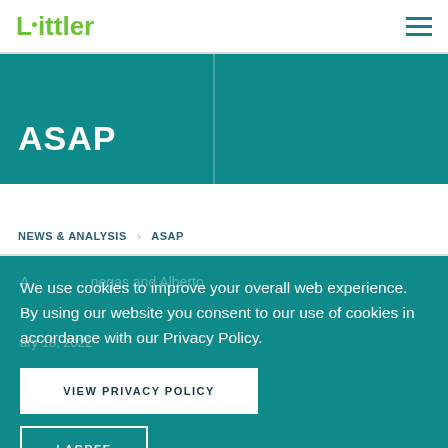Littler
ASAP
NEWS & ANALYSIS > ASAP
We use cookies to improve your overall web experience. By using our website you consent to our use of cookies in accordance with our Privacy Policy.
VIEW PRIVACY POLICY
I AGREE